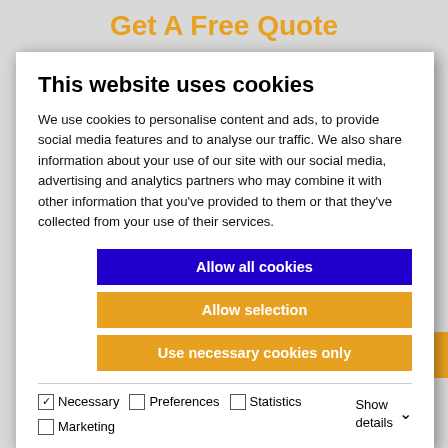Get A Free Quote
This website uses cookies
We use cookies to personalise content and ads, to provide social media features and to analyse our traffic. We also share information about your use of our site with our social media, advertising and analytics partners who may combine it with other information that you've provided to them or that they've collected from your use of their services.
Allow all cookies
Allow selection
Use necessary cookies only
Necessary  Preferences  Statistics  Marketing  Show details
Email *